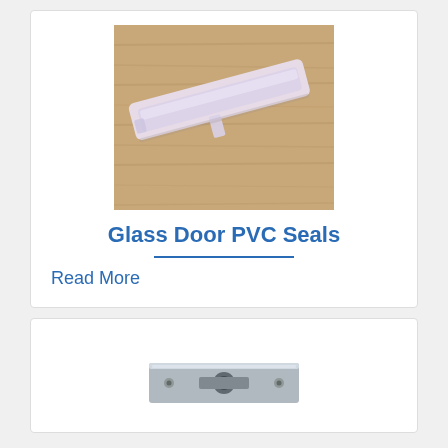[Figure (photo): Clear PVC seal strip for glass doors, lying on a wooden surface background]
Glass Door PVC Seals
Read More